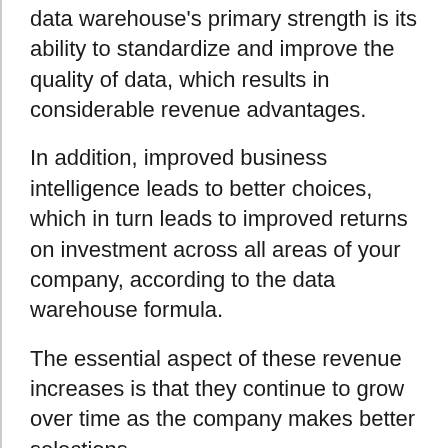data warehouse's primary strength is its ability to standardize and improve the quality of data, which results in considerable revenue advantages.
In addition, improved business intelligence leads to better choices, which in turn leads to improved returns on investment across all areas of your company, according to the data warehouse formula.
The essential aspect of these revenue increases is that they continue to grow over time as the company makes better selections.
It's hard to overstate the importance of a high-quality, fully scalable data warehouse, which is less of a cost and more of an investment.
Scalability